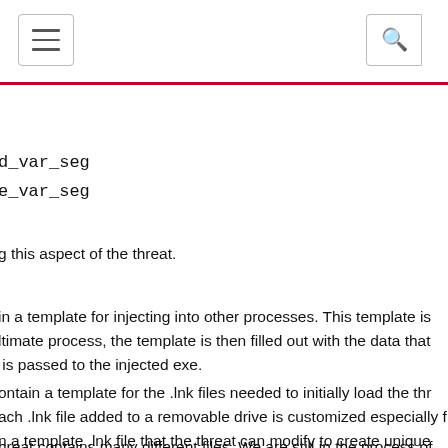[menu icon] [search icon]
d_var_seg
e_var_seg
g this aspect of the threat.
in a template for injecting into other processes. This template is ltimate process, the template is then filled out with the data that is passed to the injected exe.
ontain a template for the .lnk files needed to initially load the thr ach .lnk file added to a removable drive is customized especially f n a template .lnk file that the threat can modify to create unique emovable device being infected.
hreat contains many different files. We are still in the process of